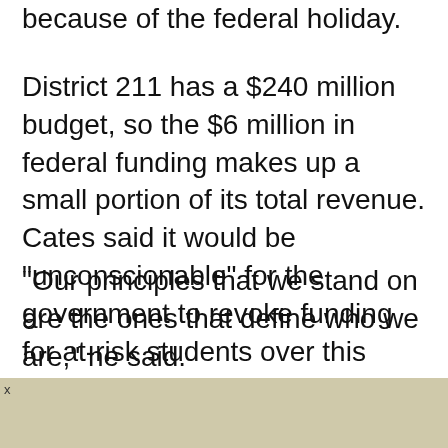because of the federal holiday.
District 211 has a $240 million budget, so the $6 million in federal funding makes up a small portion of its total revenue. Cates said it would be "unconscionable" for the government to revoke funding for at-risk students over this issue, but he isn't willing to back down, either.
"Our principles that we stand on are the ones that define who we are," he said.